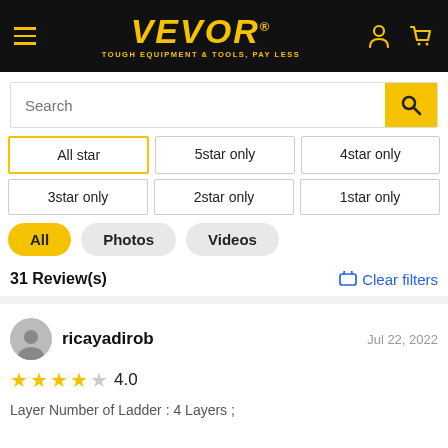VEVOR® — TOUGH EQUIPMENT & TOOLS, PAY LESS
Search
All star
5star only
4star only
3star only
2star only
1star only
All
Photos
Videos
31 Review(s)
Clear filters
ricayadirob
Jul 22, 2022
4.0
Layer Number of Ladder : 4 Layers ;